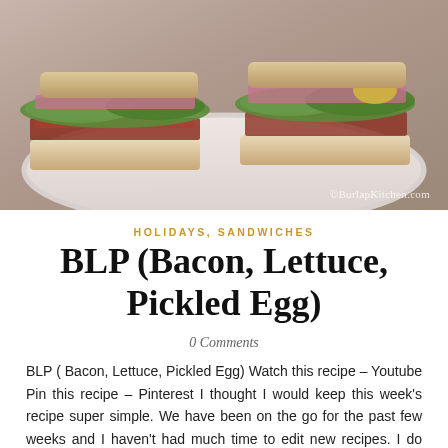[Figure (photo): A BLP sandwich (Bacon, Lettuce, Pickled Egg) cut in half and placed on a white plate, showing layers of lettuce, bacon, and pickled egg between white bread slices. Watermark reads ©BurlapKitchen.com]
HOLIDAYS, SANDWICHES
BLP (Bacon, Lettuce, Pickled Egg)
0 Comments
BLP ( Bacon, Lettuce, Pickled Egg) Watch this recipe – Youtube Pin this recipe – Pinterest I thought I would keep this week's recipe super simple. We have been on the go for the past few weeks and I haven't had much time to edit new recipes. I do have plenty of cool ones coming soon